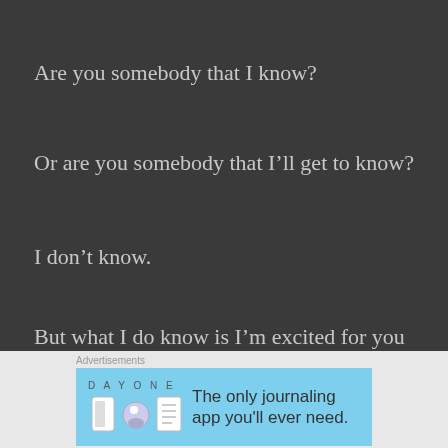Are you somebody that I know?
Or are you somebody that I’ll get to know?
I don’t know.
But what I do know is I’m excited for you and can’t wait to meet you.
[Figure (other): Jetpack advertisement banner with green background, Jetpack logo and 'Back up your site' button]
[Figure (other): Day One journaling app advertisement with light blue background, icons and tagline 'The only journaling app you'll ever need.']